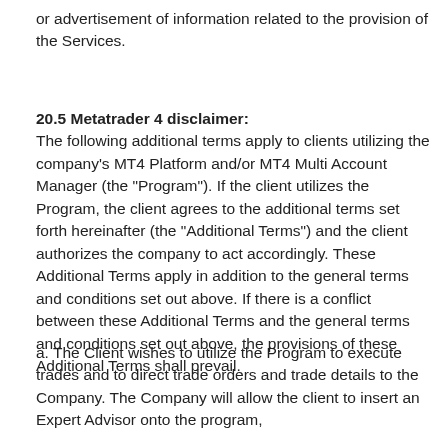or advertisement of information related to the provision of the Services.
20.5 Metatrader 4 disclaimer:
The following additional terms apply to clients utilizing the company's MT4 Platform and/or MT4 Multi Account Manager (the "Program"). If the client utilizes the Program, the client agrees to the additional terms set forth hereinafter (the "Additional Terms") and the client authorizes the company to act accordingly. These Additional Terms apply in addition to the general terms and conditions set out above. If there is a conflict between these Additional Terms and the general terms and conditions set out above, the provisions of these Additional Terms shall prevail.
a. The Client wishes to utilize the Program to execute trades and to direct trade orders and trade details to the Company. The Company will allow the client to insert an Expert Advisor onto the program,